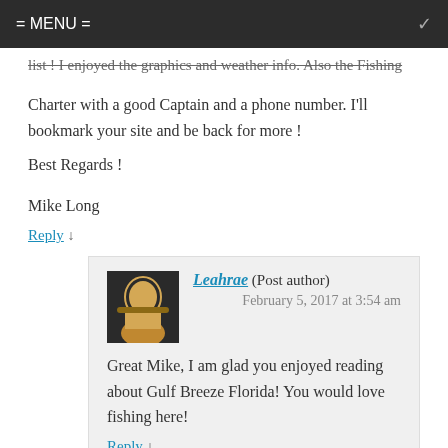= MENU =
list ! I enjoyed the graphics and weather info. Also the Fishing Charter with a good Captain and a phone number. I'll bookmark your site and be back for more !
Best Regards !

Mike Long
Reply ↓
Leahrae (Post author)
February 5, 2017 at 3:54 am
Great Mike, I am glad you enjoyed reading about Gulf Breeze Florida! You would love fishing here!
Reply ↓
merry
February 5, 2017 at 1:56 am
Thank you for such helpful information. It is always nice to have